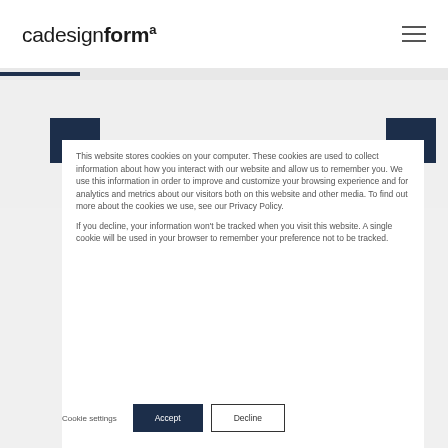cadesignforma
This website stores cookies on your computer. These cookies are used to collect information about how you interact with our website and allow us to remember you. We use this information in order to improve and customize your browsing experience and for analytics and metrics about our visitors both on this website and other media. To find out more about the cookies we use, see our Privacy Policy.

If you decline, your information won't be tracked when you visit this website. A single cookie will be used in your browser to remember your preference not to be tracked.
Cookie settings
Accept
Decline